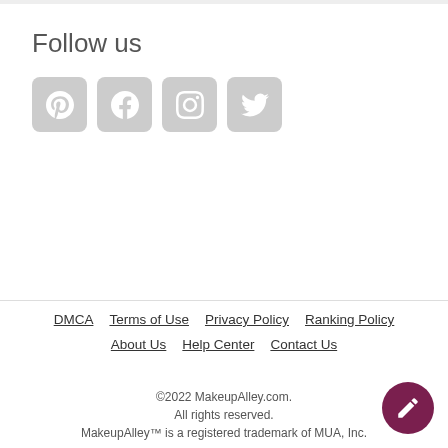Follow us
[Figure (illustration): Four social media icon buttons: Pinterest, Facebook, Instagram, Twitter — rounded square grey buttons with white icons]
DMCA   Terms of Use   Privacy Policy   Ranking Policy   About Us   Help Center   Contact Us   ©2022 MakeupAlley.com. All rights reserved. MakeupAlley™ is a registered trademark of MUA, Inc.